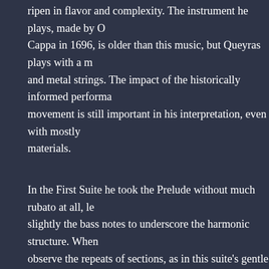ripen in flavor and complexity. The instrument he plays, made by Cappa in 1696, is older than this music, but Queyras plays with a m and metal strings. The impact of the historically informed performa movement is still important in his interpretation, even with mostly materials.
In the First Suite he took the Prelude without much rubato at all, le slightly the bass notes to underscore the harmonic structure. When observe the repeats of sections, as in this suite's gentle Allemande a Sarabande, he added often extravagant embellishments in admirabl style. Awareness of the choreographic gestures of the correspondin dances enlivened the faster movements, especially the crisp, flowir and sprightly Menuetts, with the Gigue light and jaunty rather than
In his encyclopedic sets devoted to a single genre, Bach often tried all the possible characteristics available to a composer. Queyras bro this quality in his approach to the Prelude movements, each of whi different character. In his hands that of the Second Suite was a sing